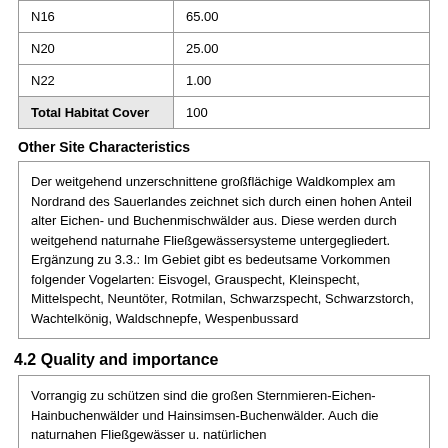| Code | Cover |
| --- | --- |
| N16 | 65.00 |
| N20 | 25.00 |
| N22 | 1.00 |
| Total Habitat Cover | 100 |
Other Site Characteristics
Der weitgehend unzerschnittene großflächige Waldkomplex am Nordrand des Sauerlandes zeichnet sich durch einen hohen Anteil alter Eichen- und Buchenmischwälder aus. Diese werden durch weitgehend naturnahe Fließgewässersysteme untergegliedert. Ergänzung zu 3.3.: Im Gebiet gibt es bedeutsame Vorkommen folgender Vogelarten: Eisvogel, Grauspecht, Kleinspecht, Mittelspecht, Neuntöter, Rotmilan, Schwarzspecht, Schwarzstorch, Wachtelkönig, Waldschnepfe, Wespenbussard
4.2 Quality and importance
Vorrangig zu schützen sind die großen Sternmieren-Eichen-Hainbuchenwälder und Hainsimsen-Buchenwälder. Auch die naturnahen Fließgewässer u. natürlichen